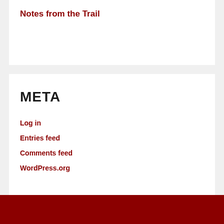Notes from the Trail
META
Log in
Entries feed
Comments feed
WordPress.org